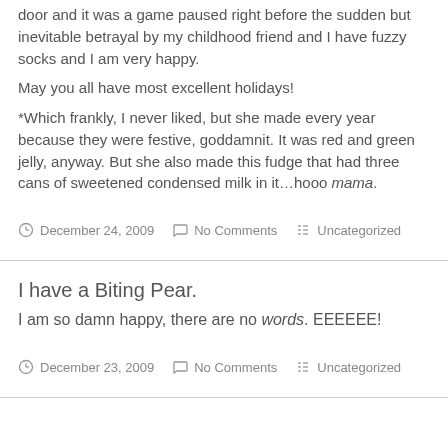door and it was a game paused right before the sudden but inevitable betrayal by my childhood friend and I have fuzzy socks and I am very happy.
May you all have most excellent holidays!
*Which frankly, I never liked, but she made every year because they were festive, goddamnit. It was red and green jelly, anyway. But she also made this fudge that had three cans of sweetened condensed milk in it…hooo mama.
December 24, 2009   No Comments   Uncategorized
I have a Biting Pear.
I am so damn happy, there are no words. EEEEEE!
December 23, 2009   No Comments   Uncategorized